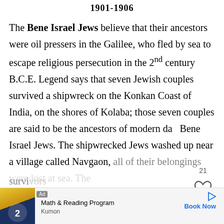1901-1906
The Bene Israel Jews believe that their ancestors were oil pressers in the Galilee, who fled by sea to escape religious persecution in the 2nd century B.C.E. Legend says that seven Jewish couples survived a shipwreck on the Konkan Coast of India, on the shores of Kolaba; those seven couples are said to be the ancestors of modern day Bene Israel Jews. The shipwrecked Jews washed up near a village called Navgaon, all of their belongings were lost at sea. The survivors
[Figure (other): UI overlay showing page number 21, heart/favorite button, and search button]
[Figure (other): Advertisement banner: Math & Reading Program by Kumon with Book Now CTA]